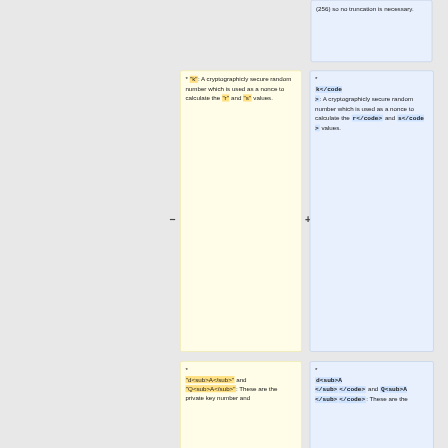(256) so no truncation is necessary.
* "k": A cryptographicly secure random number which is used as a nonce to calculate the "r" and "s" values.
* <code>k</code>: A cryptographicly secure random number which is used as a nonce to calculate the <code>r</code> and <code>s</code> values.
* "d<sub>A</sub>" and "Q<sub>A</sub>": These are the private key number and
* <code>d<sub>A</sub></code> and <code>Q<sub>A</sub></code>: These are the